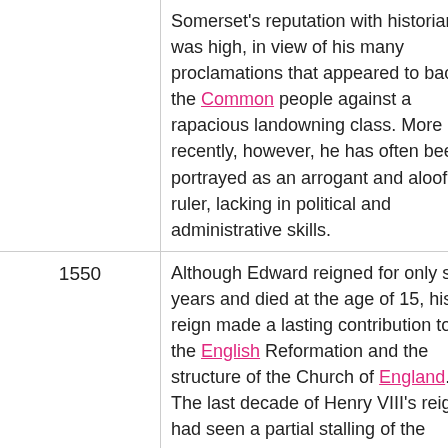| Year | Description |
| --- | --- |
|  | Somerset's reputation with historians was high, in view of his many proclamations that appeared to back the Common people against a rapacious landowning class. More recently, however, he has often been portrayed as an arrogant and aloof ruler, lacking in political and administrative skills. |
| 1550 | Although Edward reigned for only six years and died at the age of 15, his reign made a lasting contribution to the English Reformation and the structure of the Church of England. The last decade of Henry VIII's reign had seen a partial stalling of the Reformation, a drifting back to more conservative values. By contrast, Edward's reign saw radical progress in the Reformation. In those six years, the Church transferred from an essentially Roman Catholic liturgy and structure to one that is usually identified as Protestant. In particular, the introduction of the Book of Common Prayer, the Ordinal of 1550, and Cranmer's Forty-two Articles formed the basis for English Church practices that continue to this day. Edward himself fully approved these changes, and though they were the work of reformers such as Thomas... |